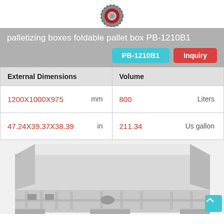[Figure (photo): Red and grey caster wheel icon at top of page]
palletizing boxes foldable pallet box PB-1210B1
| External Dimensions | Volume |
| --- | --- |
| 1200X1000X975  mm | 800  Liters |
| 47.24X39.37X38.39  in | 211.34  Us gallon |
[Figure (photo): Grey plastic foldable pallet box (PB-1210B1) shown from above-front angle, displaying ribbed sides and pallet base]